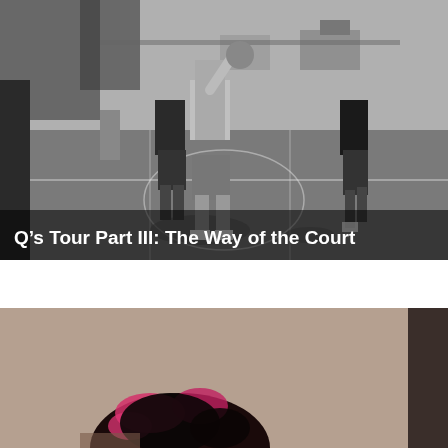[Figure (photo): Black and white photograph of young men playing basketball on an outdoor court. One player wearing a gray t-shirt holds a basketball above his head while another player defends. A third player is visible in the background on the right side. Trees and a fence are visible in the background.]
Q's Tour Part III: The Way of the Court
[Figure (photo): Color photograph with warm beige/brown tones showing the top of someone's head with pink and black hair accessories or braids, partially visible against a neutral background with a dark vertical element on the right.]